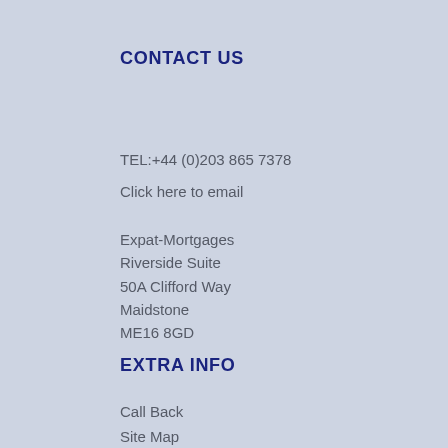CONTACT US
TEL:+44 (0)203 865 7378
Click here to email
Expat-Mortgages
Riverside Suite
50A Clifford Way
Maidstone
ME16 8GD
EXTRA INFO
Call Back
Site Map